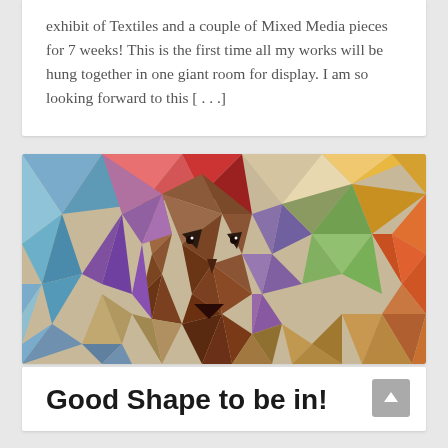exhibit of Textiles and a couple of Mixed Media pieces for 7 weeks! This is the first time all my works will be hung together in one giant room for display. I am so looking forward to this [...]
[Figure (illustration): A colorful geometric/low-poly textile artwork depicting a human face made up of many triangular fabric pieces in various colors including blues, greens, reds, oranges, purples, and earth tones.]
Good Shape to be in!